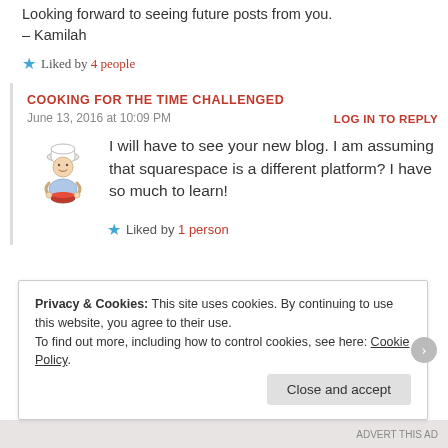Looking forward to seeing future posts from you. – Kamilah
Liked by 4 people
COOKING FOR THE TIME CHALLENGED
June 13, 2016 at 10:09 PM
LOG IN TO REPLY
[Figure (illustration): Avatar illustration of a cartoon chef/cook holding a bowl]
I will have to see your new blog. I am assuming that squarespace is a different platform? I have so much to learn!
Liked by 1 person
Privacy & Cookies: This site uses cookies. By continuing to use this website, you agree to their use. To find out more, including how to control cookies, see here: Cookie Policy
Close and accept